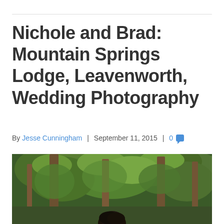Nichole and Brad: Mountain Springs Lodge, Leavenworth, Wedding Photography
By Jesse Cunningham | September 11, 2015 | 0
[Figure (photo): Outdoor forest scene with green foliage, tree trunks, and the top of a person's head with dark hair visible at the bottom center of the image.]